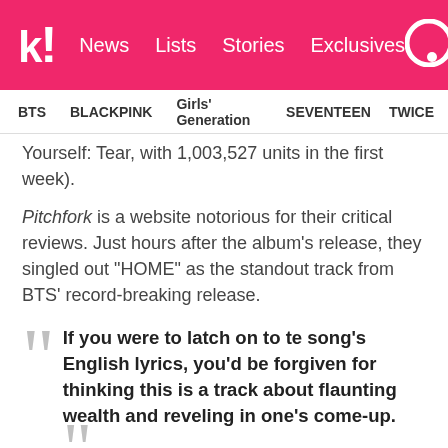k! News Lists Stories Exclusives
BTS  BLACKPINK  Girls' Generation  SEVENTEEN  TWICE
Yourself: Tear, with 1,003,527 units in the first week).
Pitchfork is a website notorious for their critical reviews. Just hours after the album's release, they singled out “HOME” as the standout track from BTS’ record-breaking release.
“If you were to latch on to te song’s English lyrics, you’d be forgiven for thinking this is a track about flaunting wealth and reveling in one’s come-up.”